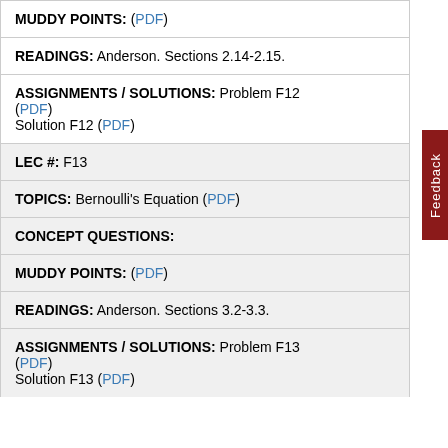MUDDY POINTS: (PDF)
READINGS: Anderson. Sections 2.14-2.15.
ASSIGNMENTS / SOLUTIONS: Problem F12 (PDF)
Solution F12 (PDF)
LEC #: F13
TOPICS: Bernoulli's Equation (PDF)
CONCEPT QUESTIONS:
MUDDY POINTS: (PDF)
READINGS: Anderson. Sections 3.2-3.3.
ASSIGNMENTS / SOLUTIONS: Problem F13 (PDF)
Solution F13 (PDF)